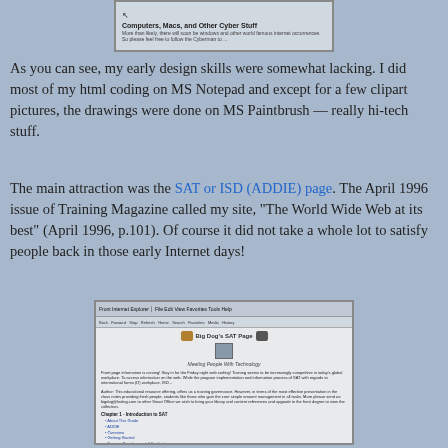[Figure (screenshot): Screenshot of an early website page with a title 'Computers, Macs, and Other Cyber Stuff' and navigation arrow icon]
As you can see, my early design skills were somewhat lacking. I did most of my html coding on MS Notepad and except for a few clipart pictures, the drawings were done on MS Paintbrush — really hi-tech stuff.
The main attraction was the SAT or ISD (ADDIE) page. The April 1996 issue of Training Magazine called my site, "The World Wide Web at its best" (April 1996, p.101). Of course it did not take a whole lot to satisfy people back in those early Internet days!
[Figure (screenshot): Screenshot of 'Big Dog's SAT Page - Meeting People With Technology' website showing navigation menu with chapters and links]